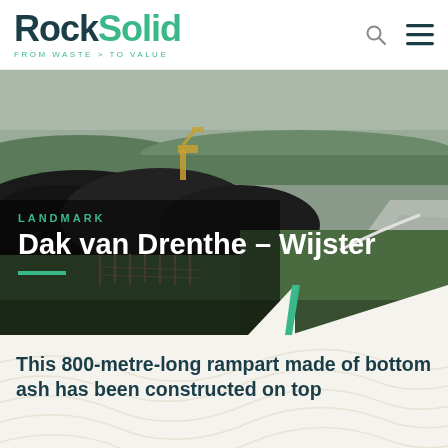RockSolid — FROM WASTE > TO VALUE
[Figure (photo): Aerial/ground-level photo of a large construction/landfill site with heavy machinery, dark soil mounds, fencing, and a paved path, overcast sky]
LANDMARK
Dak van Drenthe – Wijster
This 800-metre-long rampart made of bottom ash has been constructed on top